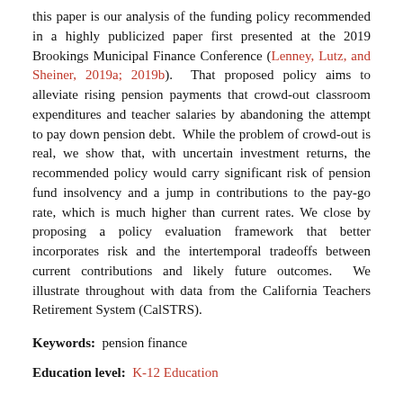this paper is our analysis of the funding policy recommended in a highly publicized paper first presented at the 2019 Brookings Municipal Finance Conference (Lenney, Lutz, and Sheiner, 2019a; 2019b).  That proposed policy aims to alleviate rising pension payments that crowd-out classroom expenditures and teacher salaries by abandoning the attempt to pay down pension debt.  While the problem of crowd-out is real, we show that, with uncertain investment returns, the recommended policy would carry significant risk of pension fund insolvency and a jump in contributions to the pay-go rate, which is much higher than current rates. We close by proposing a policy evaluation framework that better incorporates risk and the intertemporal tradeoffs between current contributions and likely future outcomes.  We illustrate throughout with data from the California Teachers Retirement System (CalSTRS).
Keywords:  pension finance
Education level:  K-12 Education